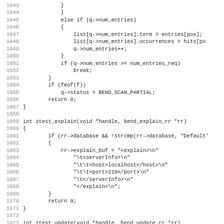Source code listing lines 1043-1075, C programming language code showing functions including ztest_explain and ztest_update